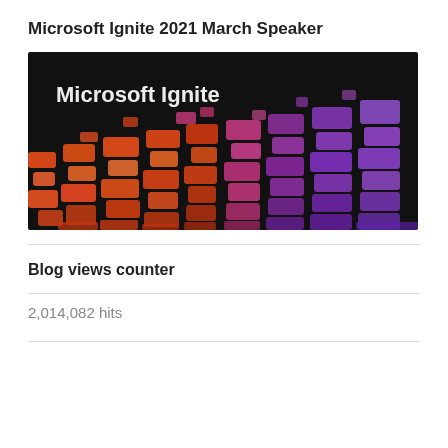Microsoft Ignite 2021 March Speaker
[Figure (photo): Microsoft Ignite branded image showing a colorful illuminated keyboard with orange, red, pink, and purple glowing keys on a dark background, with 'Microsoft Ignite' text overlaid in white.]
Blog views counter
2,014,082 hits